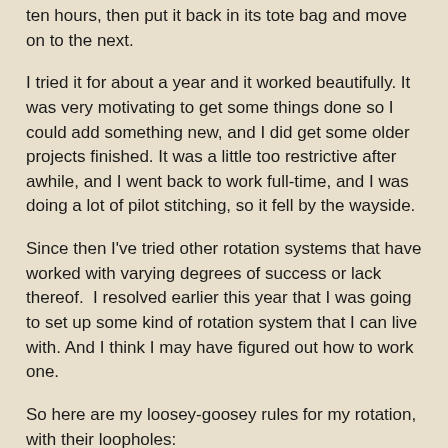ten hours, then put it back in its tote bag and move on to the next.
I tried it for about a year and it worked beautifully. It was very motivating to get some things done so I could add something new, and I did get some older projects finished. It was a little too restrictive after awhile, and I went back to work full-time, and I was doing a lot of pilot stitching, so it fell by the wayside.
Since then I've tried other rotation systems that have worked with varying degrees of success or lack thereof.  I resolved earlier this year that I was going to set up some kind of rotation system that I can live with. And I think I may have figured out how to work one.
So here are my loosey-goosey rules for my rotation, with their loopholes:
I have to work on each project in the list for at least ten hours during that cycle.  Loopholes: The ten hours don't have to be consecutive--some